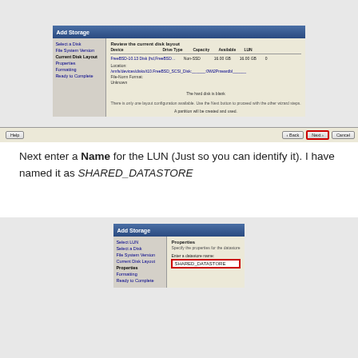[Figure (screenshot): Screenshot of Add Storage wizard showing disk layout panel with a disk selected and Next button highlighted with red border]
Next enter a Name for the LUN (Just so you can identify it). I have named it as SHARED_DATASTORE
[Figure (screenshot): Screenshot of Add Storage wizard Properties step showing a text input field with SHARED_DATASTORE entered, highlighted with red border]